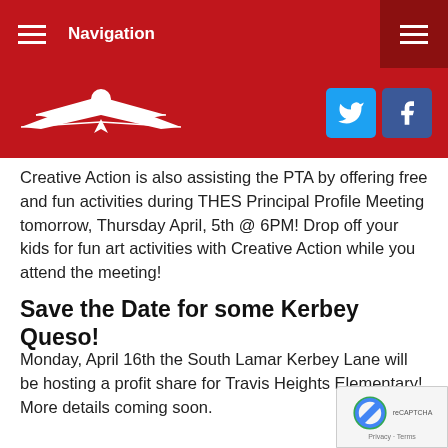Navigation
[Figure (logo): Eagle/bird logo in white on red background]
Creative Action is also assisting the PTA by offering free and fun activities during THES Principal Profile Meeting tomorrow, Thursday April, 5th @ 6PM! Drop off your kids for fun art activities with Creative Action while you attend the meeting!
Save the Date for some Kerbey Queso!
Monday, April 16th the South Lamar Kerbey Lane will be hosting a profit share for Travis Heights Elementary! More details coming soon.